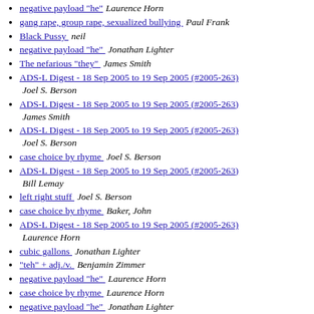negative payload "he"   Laurence Horn
gang rape, group rape, sexualized bullying   Paul Frank
Black Pussy   neil
negative payload "he"   Jonathan Lighter
The nefarious "they"   James Smith
ADS-L Digest - 18 Sep 2005 to 19 Sep 2005 (#2005-263)   Joel S. Berson
ADS-L Digest - 18 Sep 2005 to 19 Sep 2005 (#2005-263)   James Smith
ADS-L Digest - 18 Sep 2005 to 19 Sep 2005 (#2005-263)   Joel S. Berson
case choice by rhyme   Joel S. Berson
ADS-L Digest - 18 Sep 2005 to 19 Sep 2005 (#2005-263)   Bill Lemay
left right stuff   Joel S. Berson
case choice by rhyme   Baker, John
ADS-L Digest - 18 Sep 2005 to 19 Sep 2005 (#2005-263)   Laurence Horn
cubic gallons   Jonathan Lighter
"teh" + adj./v.   Benjamin Zimmer
negative payload "he"   Laurence Horn
case choice by rhyme   Laurence Horn
negative payload "he"   Jonathan Lighter
case choice by rhyme   Joel S. Berson
"pot-able"   James Smith